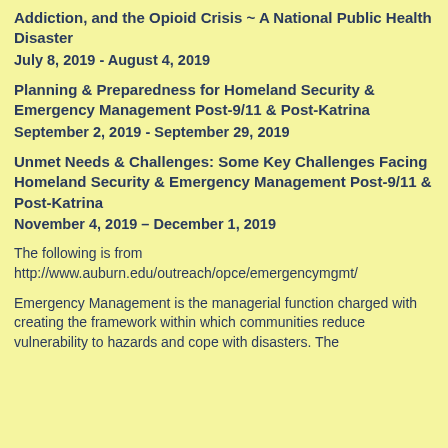Addiction, and the Opioid Crisis ~ A National Public Health Disaster
July 8, 2019 - August 4, 2019
Planning & Preparedness for Homeland Security & Emergency Management Post-9/11 & Post-Katrina
September 2, 2019 - September 29, 2019
Unmet Needs & Challenges: Some Key Challenges Facing Homeland Security & Emergency Management Post-9/11 & Post-Katrina
November 4, 2019 – December 1, 2019
The following is from
http://www.auburn.edu/outreach/opce/emergencymgmt/
Emergency Management is the managerial function charged with creating the framework within which communities reduce vulnerability to hazards and cope with disasters. The